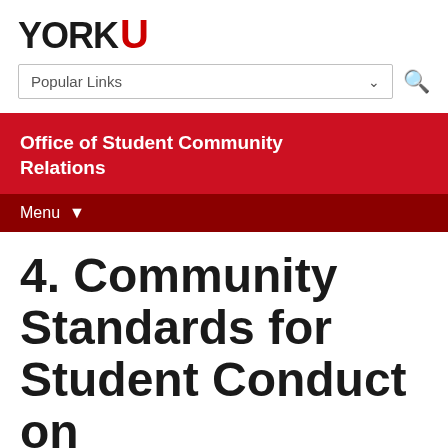YORK U
Popular Links
Office of Student Community Relations
Menu
4. Community Standards for Student Conduct on Campus